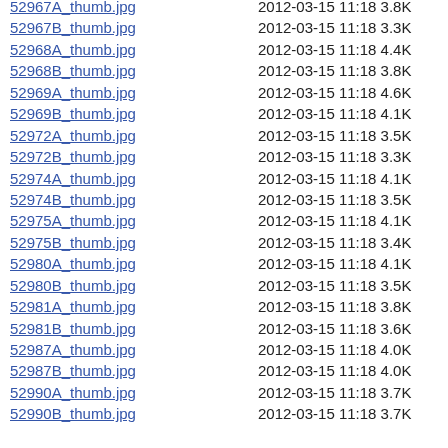52967A_thumb.jpg   2012-03-15 11:18 3.8K
52967B_thumb.jpg   2012-03-15 11:18 3.3K
52968A_thumb.jpg   2012-03-15 11:18 4.4K
52968B_thumb.jpg   2012-03-15 11:18 3.8K
52969A_thumb.jpg   2012-03-15 11:18 4.6K
52969B_thumb.jpg   2012-03-15 11:18 4.1K
52972A_thumb.jpg   2012-03-15 11:18 3.5K
52972B_thumb.jpg   2012-03-15 11:18 3.3K
52974A_thumb.jpg   2012-03-15 11:18 4.1K
52974B_thumb.jpg   2012-03-15 11:18 3.5K
52975A_thumb.jpg   2012-03-15 11:18 4.1K
52975B_thumb.jpg   2012-03-15 11:18 3.4K
52980A_thumb.jpg   2012-03-15 11:18 4.1K
52980B_thumb.jpg   2012-03-15 11:18 3.5K
52981A_thumb.jpg   2012-03-15 11:18 3.8K
52981B_thumb.jpg   2012-03-15 11:18 3.6K
52987A_thumb.jpg   2012-03-15 11:18 4.0K
52987B_thumb.jpg   2012-03-15 11:18 4.0K
52990A_thumb.jpg   2012-03-15 11:18 3.7K
52990B_thumb.jpg   2012-03-15 11:18 3.7K